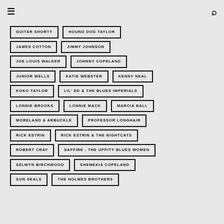GUITAR SHORTY
HOUND DOG TAYLOR
JAMES COTTON
JIMMY JOHNSON
JOE LOUIS WALKER
JOHNNY COPELAND
JUNIOR WELLS
KATIE WEBSTER
KENNY NEAL
KOKO TAYLOR
LIL' ED & THE BLUES IMPERIALS
LONNIE BROOKS
LONNIE MACK
MARCIA BALL
MORELAND & ARBUCKLE
PROFESSOR LONGHAIR
RICK ESTRIN
RICK ESTRIN & THE NIGHTCATS
ROBERT CRAY
SAFFIRE - THE UPPITY BLUES WOMEN
SELWYN BIRCHWOOD
SHEMEKIA COPELAND
SON SEALS
THE HOLMES BROTHERS